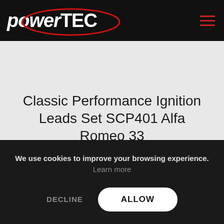powerTEC
[Figure (photo): Partial product image of ignition leads set, silver/white component visible at top]
Classic Performance Ignition Leads Set SCP401 Alfa Romeo 33
£ 31,99
We use cookies to improve your browsing experience. Learn more
DECLINE
ALLOW